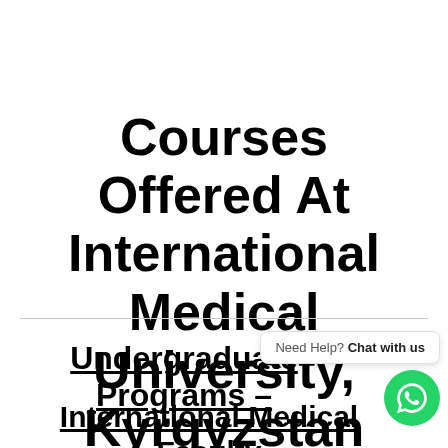Courses Offered At International Medical University, Kyrgyzstan
Undergraduate Programs –
International Medical Faculty